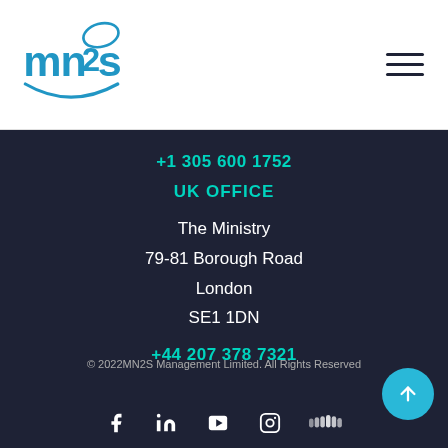[Figure (logo): MN2S logo in blue with swoosh underline]
[Figure (other): Hamburger menu icon (three horizontal lines)]
+1 305 600 1752
UK OFFICE
The Ministry
79-81 Borough Road
London
SE1 1DN
+44 207 378 7321
© 2022MN2S Management Limited. All Rights Reserved
[Figure (other): Social media icons: Facebook, LinkedIn, YouTube, Instagram, SoundCloud]